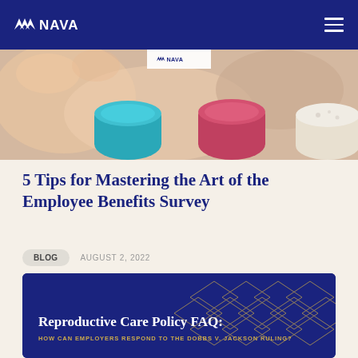NAVA
[Figure (photo): Close-up photo of colorful paint pots (teal, red/pink, white) with artistic background, with NAVA logo watermark overlay]
5 Tips for Mastering the Art of the Employee Benefits Survey
BLOG   AUGUST 2, 2022
[Figure (illustration): Dark navy blue card with geometric diamond pattern in gold/tan lines, containing title 'Reproductive Care Policy FAQ:' and subtitle 'HOW CAN EMPLOYERS RESPOND TO THE DOBBS V. JACKSON RULING?']